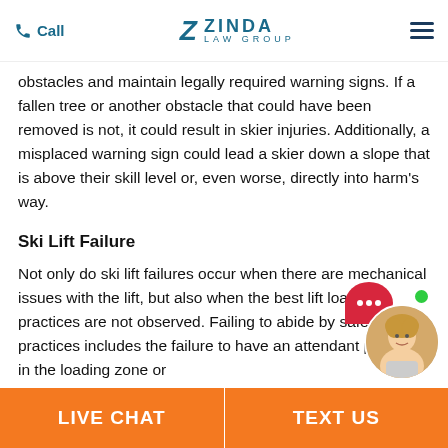Call | Zinda Law Group
obstacles and maintain legally required warning signs. If a fallen tree or another obstacle that could have been removed is not, it could result in skier injuries. Additionally, a misplaced warning sign could lead a skier down a slope that is above their skill level or, even worse, directly into harm's way.
Ski Lift Failure
Not only do ski lift failures occur when there are mechanical issues with the lift, but also when the best lift loading practices are not observed. Failing to abide by safe lift practices includes the failure to have an attendant present in the loading zone or
[Figure (other): Live chat widget with red speech bubble icon and female customer service avatar with green online indicator dot]
LIVE CHAT | TEXT US